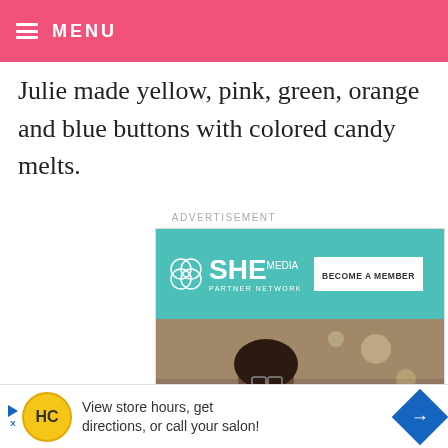☰ MENU
Julie made yellow, pink, green, orange and blue buttons with colored candy melts.
ADVERTISEMENT
[Figure (screenshot): SHE Media Partner Network advertisement banner with photo of woman smiling at laptop and text 'WE HELP CONTENT CREATORS GROW BUSINESSES THROUGH...' with LEARN MORE button]
[Figure (screenshot): Bottom banner ad: HC logo, text 'View store hours, get directions, or call your salon!' with navigation arrow diamond icon]